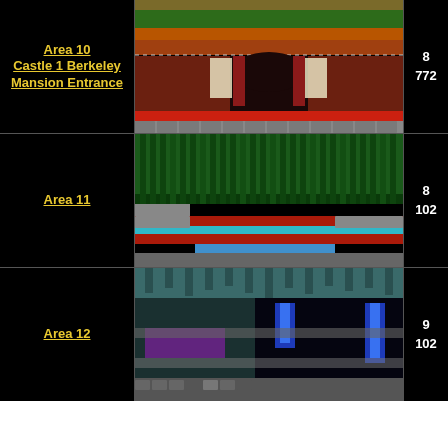Area 10 Castle 1 Berkeley Mansion Entrance
[Figure (screenshot): Pixel art screenshot of Castle 1 Berkeley Mansion Entrance level with stone walls, arched doorway, red curtains, and platform tiles]
8 772
Area 11
[Figure (screenshot): Pixel art screenshot of Area 11 with green tall grass/reeds, red floor, blue water pool, and platform tiles]
8 102
Area 12
[Figure (screenshot): Pixel art screenshot of Area 12 with blue flames, stalactites, dark cave, pink flame hazards, and platform tiles]
9 102